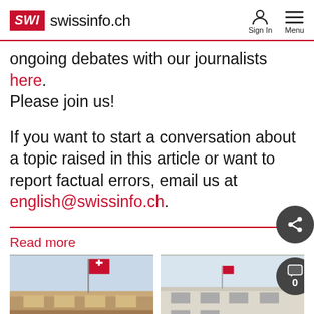SWI swissinfo.ch
ongoing debates with our journalists here. Please join us!
If you want to start a conversation about a topic raised in this article or want to report factual errors, email us at english@swissinfo.ch.
Read more
[Figure (photo): Building with Swiss flag flying, two photos side by side]